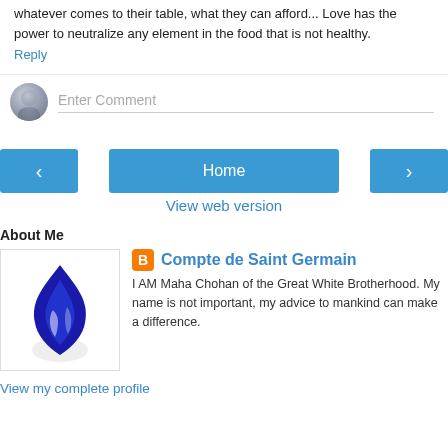whatever comes to their table, what they can afford... Love has the power to neutralize any element in the food that is not healthy.
Reply
Enter Comment
Home
View web version
About Me
[Figure (logo): Blue flame logo for Compte de Saint Germain profile]
Compte de Saint Germain
I AM Maha Chohan of the Great White Brotherhood. My name is not important, my advice to mankind can make a difference.
View my complete profile